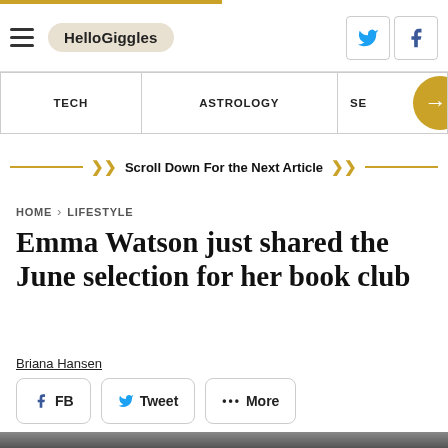HelloGiggles
TECH | ASTROLOGY | SE →
≫ Scroll Down For the Next Article ≫
HOME > LIFESTYLE
Emma Watson just shared the June selection for her book club
Briana Hansen
FB  Tweet  ••• More